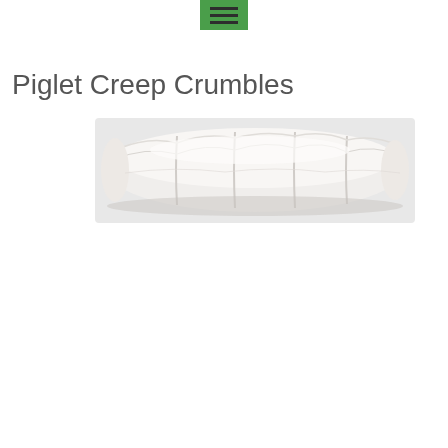menu icon
Piglet Creep Crumbles
[Figure (photo): Close-up photograph of white crumble feed product, showing a row of white pillow-shaped or segmented crumble pieces arranged in a line against a light background.]